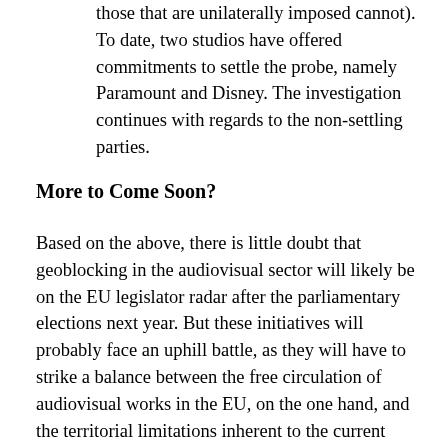those that are unilaterally imposed cannot). To date, two studios have offered commitments to settle the probe, namely Paramount and Disney. The investigation continues with regards to the non-settling parties.
More to Come Soon?
Based on the above, there is little doubt that geoblocking in the audiovisual sector will likely be on the EU legislator radar after the parliamentary elections next year. But these initiatives will probably face an uphill battle, as they will have to strike a balance between the free circulation of audiovisual works in the EU, on the one hand, and the territorial limitations inherent to the current copyright framework, on the other hand – a task that